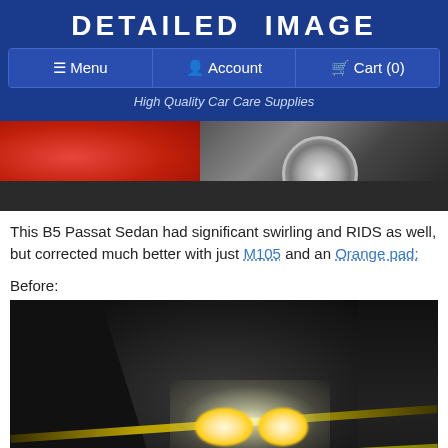DETAILED IMAGE
Menu | Account | Cart (0)
High Quality Car Care Supplies
[Figure (photo): Close-up of a red car's lower body and chrome wheel on a dark surface]
This B5 Passat Sedan had significant swirling and RIDS as well, but corrected much better with just M105 and an Orange pad:
Before:
[Figure (photo): Before photo showing swirl marks and RIDS on a dark car panel illuminated by two light sources]